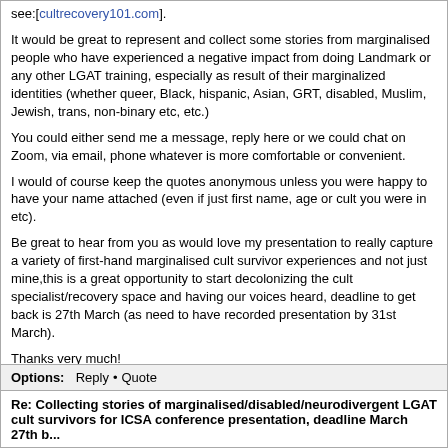see:[cultrecovery101.com].
It would be great to represent and collect some stories from marginalised people who have experienced a negative impact from doing Landmark or any other LGAT training, especially as result of their marginalized identities (whether queer, Black, hispanic, Asian, GRT, disabled, Muslim, Jewish, trans, non-binary etc, etc.)
You could either send me a message, reply here or we could chat on Zoom, via email, phone whatever is more comfortable or convenient.
I would of course keep the quotes anonymous unless you were happy to have your name attached (even if just first name, age or cult you were in etc).
Be great to hear from you as would love my presentation to really capture a variety of first-hand marginalised cult survivor experiences and not just mine,this is a great opportunity to start decolonizing the cult specialist/recovery space and having our voices heard, deadline to get back is 27th March (as need to have recorded presentation by 31st March).
Thanks very much!
Priscilla
Edited 3 time(s). Last edit at 03/16/2022 01:03AM by PurpleOrchid.
Options: Reply • Quote
Re: Collecting stories of marginalised/disabled/neurodivergent LGAT cult survivors for ICSA conference presentation, deadline March 27th b...